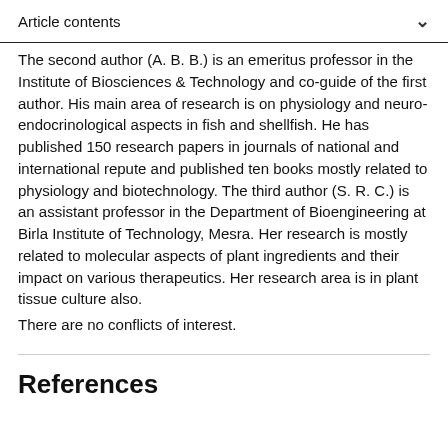Article contents
The second author (A. B. B.) is an emeritus professor in the Institute of Biosciences & Technology and co-guide of the first author. His main area of research is on physiology and neuro-endocrinological aspects in fish and shellfish. He has published 150 research papers in journals of national and international repute and published ten books mostly related to physiology and biotechnology. The third author (S. R. C.) is an assistant professor in the Department of Bioengineering at Birla Institute of Technology, Mesra. Her research is mostly related to molecular aspects of plant ingredients and their impact on various therapeutics. Her research area is in plant tissue culture also.
There are no conflicts of interest.
References